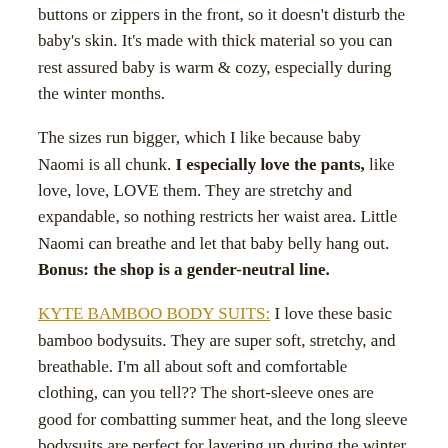buttons or zippers in the front, so it doesn't disturb the baby's skin. It's made with thick material so you can rest assured baby is warm & cozy, especially during the winter months.
The sizes run bigger, which I like because baby Naomi is all chunk. I especially love the pants, like love, love, LOVE them. They are stretchy and expandable, so nothing restricts her waist area. Little Naomi can breathe and let that baby belly hang out. Bonus: the shop is a gender-neutral line.
KYTE BAMBOO BODY SUITS: I love these basic bamboo bodysuits. They are super soft, stretchy, and breathable. I'm all about soft and comfortable clothing, can you tell?? The short-sleeve ones are good for combatting summer heat, and the long sleeve bodysuits are perfect for layering up during the winter months.
THESE CLASSIC BOOTIES: I